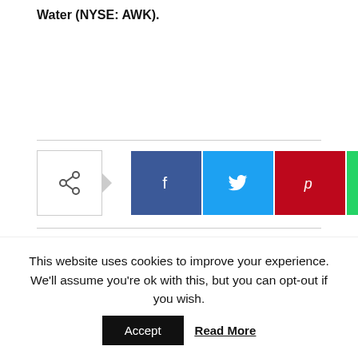Water (NYSE: AWK).
[Figure (other): Social media share bar with share toggle button (arrow icon), Facebook (f), Twitter (bird), Pinterest (P), WhatsApp (phone) buttons]
Previous article
Next article
Construction begins on mixed-
Construction begins on $4.5
This website uses cookies to improve your experience. We'll assume you're ok with this, but you can opt-out if you wish.
Accept
Read More